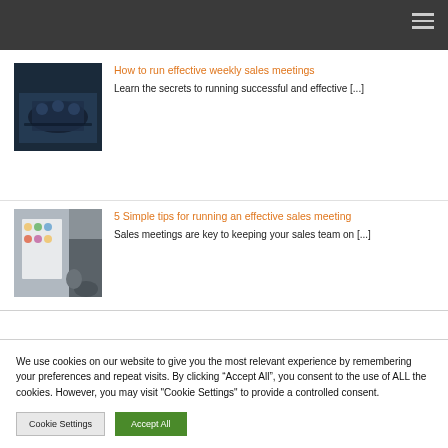[Figure (photo): Business meeting room photo thumbnail showing people around a table]
How to run effective weekly sales meetings
Learn the secrets to running successful and effective [...]
[Figure (photo): Person presenting at a whiteboard with sticky notes]
5 Simple tips for running an effective sales meeting
Sales meetings are key to keeping your sales team on [...]
We use cookies on our website to give you the most relevant experience by remembering your preferences and repeat visits. By clicking “Accept All”, you consent to the use of ALL the cookies. However, you may visit "Cookie Settings" to provide a controlled consent.